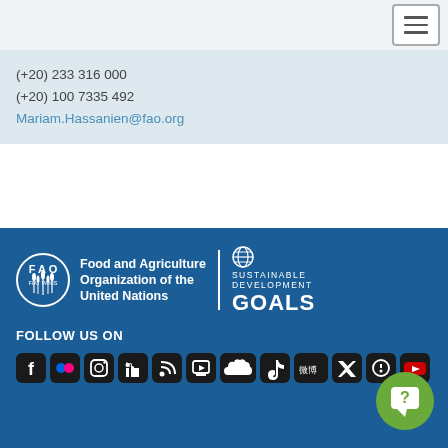(+20) 233 316 000
(+20) 100 7335 492
Mariam.Hassanien@fao.org
[Figure (logo): FAO logo with circular emblem and text 'Food and Agriculture Organization of the United Nations', alongside UN Sustainable Development Goals logo]
FOLLOW US ON
[Figure (other): Social media icons: Facebook, Flickr, Instagram, LinkedIn, RSS, SlideShare, SoundCloud, TikTok, Weibo, Twitter, and additional icons, plus YouTube]